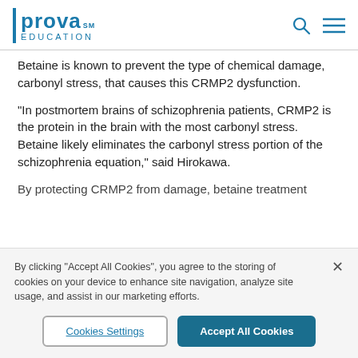prova EDUCATION
Betaine is known to prevent the type of chemical damage, carbonyl stress, that causes this CRMP2 dysfunction.
"In postmortem brains of schizophrenia patients, CRMP2 is the protein in the brain with the most carbonyl stress. Betaine likely eliminates the carbonyl stress portion of the schizophrenia equation," said Hirokawa.
By protecting CRMP2 from damage, betaine treatment...
By clicking "Accept All Cookies", you agree to the storing of cookies on your device to enhance site navigation, analyze site usage, and assist in our marketing efforts.